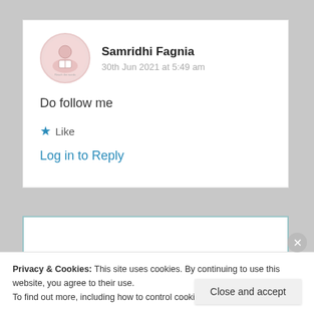[Figure (illustration): Circular avatar with pink background showing a figure reading, with text 'Reach the words' and decorative elements]
Samridhi Fagnia
30th Jun 2021 at 5:49 am
Do follow me
★ Like
Log in to Reply
Privacy & Cookies: This site uses cookies. By continuing to use this website, you agree to their use.
To find out more, including how to control cookies, see here: Cookie Policy
Close and accept